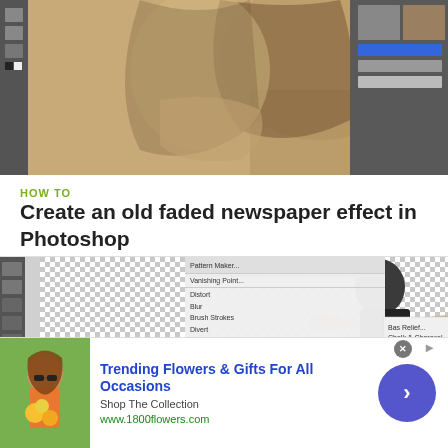[Figure (screenshot): A Photoshop screenshot showing a sepia-toned photo of a woman with her hand under her chin, with a layers panel visible on the right side]
HOW TO
Create an old faded newspaper effect in Photoshop
[Figure (screenshot): A Photoshop screenshot showing a Filter menu open with submenu options visible, and a layers/color panel on the right. A person in a black shirt is visible in the layers panel thumbnail.]
[Figure (photo): Advertisement: Woman holding flowers. Trending Flowers & Gifts For All Occasions. Shop The Collection. www.1800flowers.com]